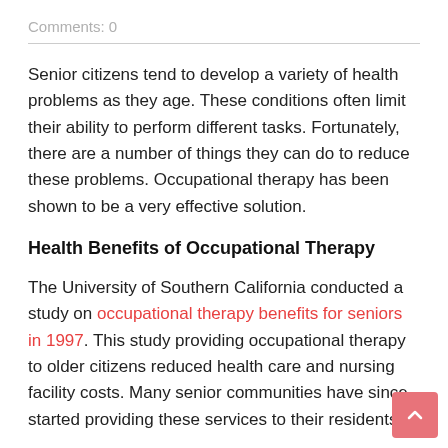Comments: 0
Senior citizens tend to develop a variety of health problems as they age. These conditions often limit their ability to perform different tasks. Fortunately, there are a number of things they can do to reduce these problems. Occupational therapy has been shown to be a very effective solution.
Health Benefits of Occupational Therapy
The University of Southern California conducted a study on occupational therapy benefits for seniors in 1997. This study providing occupational therapy to older citizens reduced health care and nursing facility costs. Many senior communities have since started providing these services to their residents.